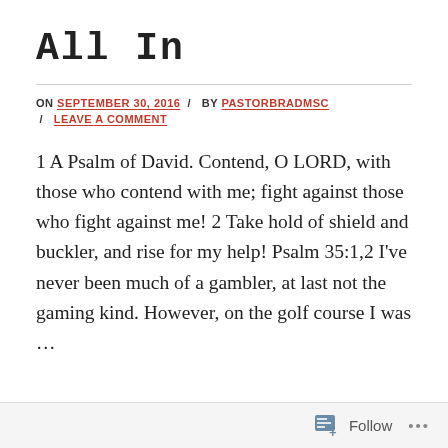All In
ON SEPTEMBER 30, 2016 / BY PASTORBRADMSC / LEAVE A COMMENT
1 A Psalm of David. Contend, O LORD, with those who contend with me; fight against those who fight against me! 2 Take hold of shield and buckler, and rise for my help! Psalm 35:1,2 I've never been much of a gambler, at last not the gaming kind. However, on the golf course I was …
Follow